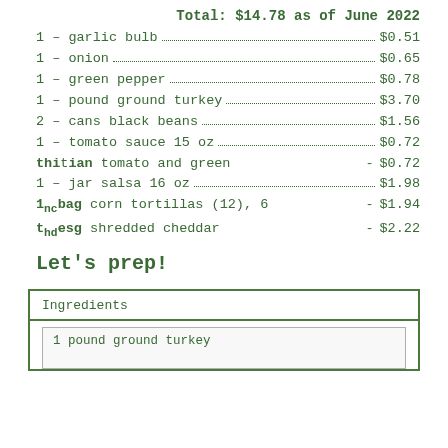Total: $14.78 as of June 2022
1 – garlic bulb ........................................  $0.51
1 – onion ..............................................  $0.65
1 – green pepper .......................................  $0.78
1 – pound ground turkey ................................  $3.70
2 – cans black beans ...................................  $1.56
1 – tomato sauce 15 oz .................................  $0.72
thin tomato and green  -  $0.72
1 – jar salsa 16 oz ....................................  $1.98
1 – bag corn tortillas (12), 6 -  $1.94
cheese shredded cheddar  -  $2.22
Let's prep!
| Ingredients |
| --- |
| 1 pound ground turkey |